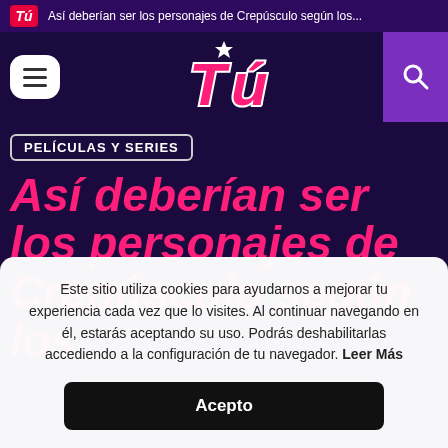Así deberían ser los personajes de Crepúsculo según los...
[Figure (logo): Tú magazine logo - pink stylized text with star]
PELÍCULAS Y SERIES
Así deberían ser los personajes de Crepúsculo según los li
Este sitio utiliza cookies para ayudarnos a mejorar tu experiencia cada vez que lo visites. Al continuar navegando en él, estarás aceptando su uso. Podrás deshabilitarlas accediendo a la configuración de tu navegador. Leer Más
Acepto